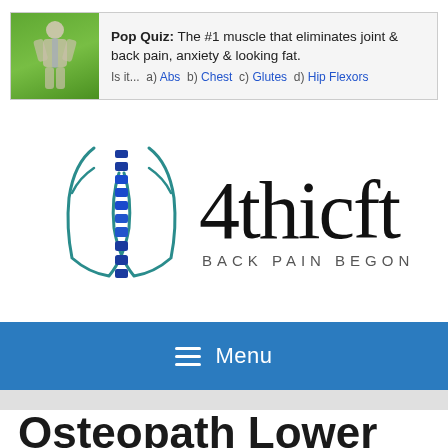[Figure (screenshot): Pop Quiz advertisement banner with a muscular anatomy figure on green background. Text: 'Pop Quiz: The #1 muscle that eliminates joint & back pain, anxiety & looking fat. Is it... a) Abs b) Chest c) Glutes d) Hip Flexors']
[Figure (logo): 4thicft logo with spine/back illustration in teal and blue, text '4thicft' in large serif font and 'BACK PAIN BEGONE!' subtitle]
≡ Menu
Osteopath Lower Back Pain